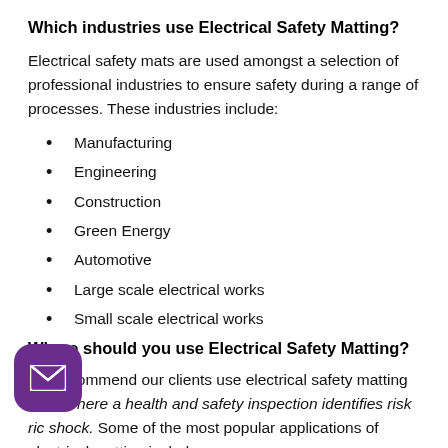Which industries use Electrical Safety Matting?
Electrical safety mats are used amongst a selection of professional industries to ensure safety during a range of processes. These industries include:
Manufacturing
Engineering
Construction
Green Energy
Automotive
Large scale electrical works
Small scale electrical works
Where should you use Electrical Safety Matting?
We recommend our clients use electrical safety matting in ea where a health and safety inspection identifies risk ric shock. Some of the most popular applications of electrical matting include: